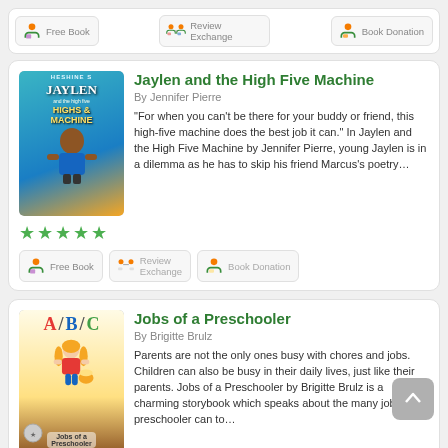Free Book
Review Exchange
Book Donation
Jaylen and the High Five Machine
By Jennifer Pierre
“For when you can’t be there for your buddy or friend, this high-five machine does the best job it can.” In Jaylen and the High Five Machine by Jennifer Pierre, young Jaylen is in a dilemma as he has to skip his friend Marcus’s poetry…
[Figure (other): Five green star rating icons]
Free Book
Review Exchange
Book Donation
Jobs of a Preschooler
By Brigitte Brulz
Parents are not the only ones busy with chores and jobs. Children can also be busy in their daily lives, just like their parents. Jobs of a Preschooler by Brigitte Brulz is a charming storybook which speaks about the many jobs a preschooler can to…
[Figure (other): Five green star rating icons]
Free Book